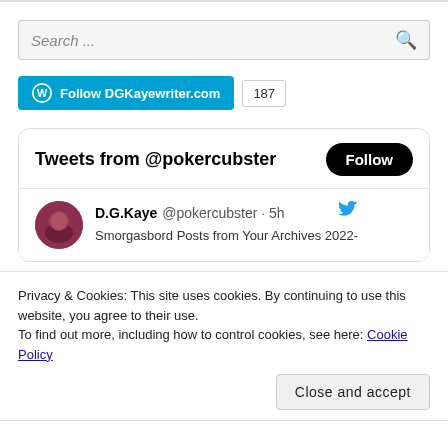[Figure (screenshot): Search bar with placeholder text 'Search...' and magnifying glass icon on right]
[Figure (screenshot): WordPress Follow button for DGKayewriter.com with follower count badge showing 187]
[Figure (screenshot): Twitter/X widget showing 'Tweets from @pokercubster' with Follow button]
[Figure (screenshot): Tweet from D.G.Kaye @pokercubster 5h with avatar and partial tweet text 'Smorgasbord Posts from Your Archives 2022-']
Privacy & Cookies: This site uses cookies. By continuing to use this website, you agree to their use.
To find out more, including how to control cookies, see here: Cookie Policy
Close and accept